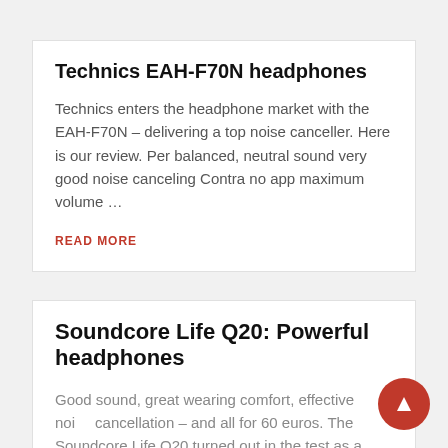Technics EAH-F70N headphones
Technics enters the headphone market with the EAH-F70N – delivering a top noise canceller. Here is our review. Per balanced, neutral sound very good noise canceling Contra no app maximum volume …
READ MORE
Soundcore Life Q20: Powerful headphones
Good sound, great wearing comfort, effective noise cancellation – and all for 60 euros. The Soundcore Life Q20 turned out in the test as a strong bargain